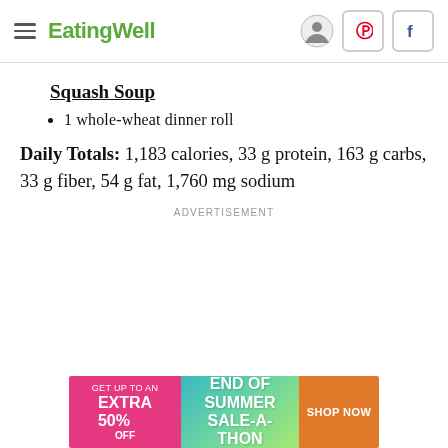EatingWell
Squash Soup
1 whole-wheat dinner roll
Daily Totals: 1,183 calories, 33 g protein, 163 g carbs, 33 g fiber, 54 g fat, 1,760 mg sodium
ADVERTISEMENT
[Figure (other): Advertisement banner: GET UP TO AN EXTRA 50% OFF | END OF SUMMER SALE-A-THON | SHOP NOW]